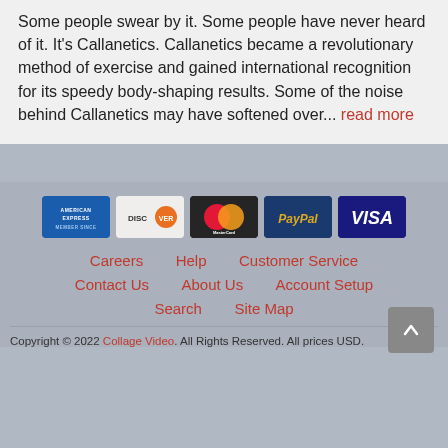Some people swear by it. Some people have never heard of it. It's Callanetics. Callanetics became a revolutionary method of exercise and gained international recognition for its speedy body-shaping results. Some of the noise behind Callanetics may have softened over... read more
[Figure (other): Row of payment method icons: American Express, Discover, MasterCard, PayPal, Visa]
Careers   Help   Customer Service   Contact Us   About Us   Account Setup   Search   Site Map
Copyright © 2022 Collage Video. All Rights Reserved. All prices USD.